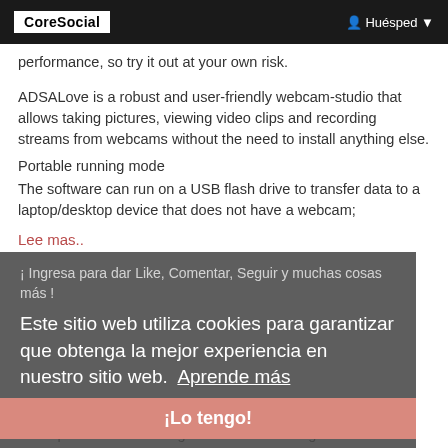CoreSocial   Huésped
performance, so try it out at your own risk.
ADSALove is a robust and user-friendly webcam-studio that allows taking pictures, viewing video clips and recording streams from webcams without the need to install anything else.
Portable running mode
The software can run on a USB flash drive to transfer data to a laptop/desktop device that does not have a webcam;
Lee mas..
¡ Ingresa para dar Like, Comentar, Seguir y muchas cosas más !
Este sitio web utiliza cookies para garantizar que obtenga la mejor experiencia en nuestro sitio web.  Aprende más
skylbonseca
3 meses · Traducciones
¡Lo tengo!
Make professional looking letters and label tags
Quickly and easily create professional looking labels with